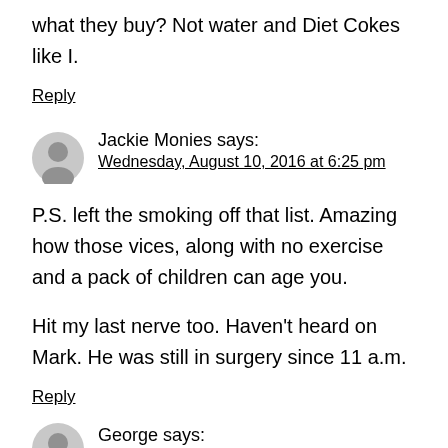what they buy? Not water and Diet Cokes like I.
Reply
Jackie Monies says:
Wednesday, August 10, 2016 at 6:25 pm
P.S. left the smoking off that list. Amazing how those vices, along with no exercise and a pack of children can age you.
Hit my last nerve too. Haven't heard on Mark. He was still in surgery since 11 a.m.
Reply
George says: